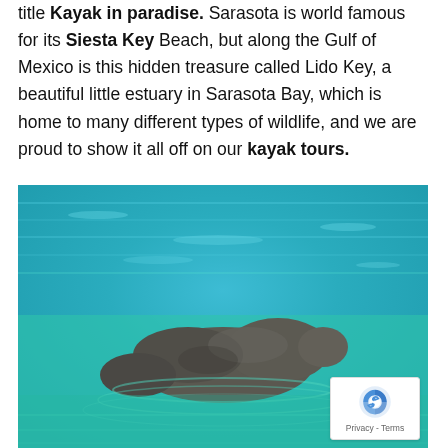title Kayak in paradise. Sarasota is world famous for its Siesta Key Beach, but along the Gulf of Mexico is this hidden treasure called Lido Key, a beautiful little estuary in Sarasota Bay, which is home to many different types of wildlife, and we are proud to show it all off on our kayak tours.
[Figure (photo): A manatee surfacing in turquoise-green water of Sarasota Bay, with rippling water visible around it.]